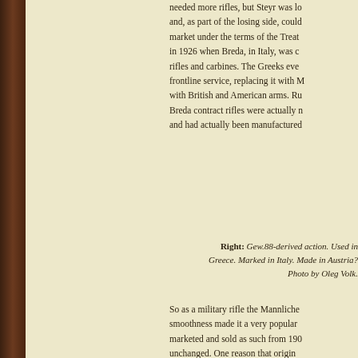needed more rifles, but Steyr was lo and, as part of the losing side, could market under the terms of the Treat in 1926 when Breda, in Italy, was c rifles and carbines. The Greeks eve frontline service, replacing it with M with British and American arms. Ru Breda contract rifles were actually n and had actually been manufactured
Right: Gew.88-derived action. Used in Greece. Marked in Italy. Made in Austria? Photo by Oleg Volk.
So as a military rifle the Mannliche smoothness made it a very popular marketed and sold as such from 190 unchanged. One reason that origin